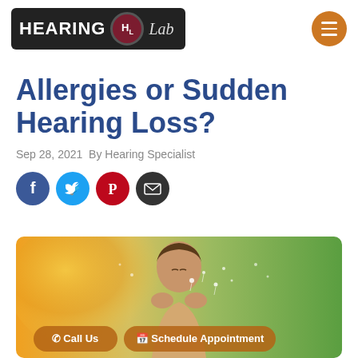HEARING HL Lab
Allergies or Sudden Hearing Loss?
Sep 28, 2021 By Hearing Specialist
[Figure (illustration): Social share icons: Facebook (blue circle), Twitter (light blue circle), Pinterest (red circle), Email (dark circle)]
[Figure (photo): Woman blowing dandelion seeds outdoors with bokeh green background and warm sunlight, with Call Us and Schedule Appointment buttons overlaid at bottom]